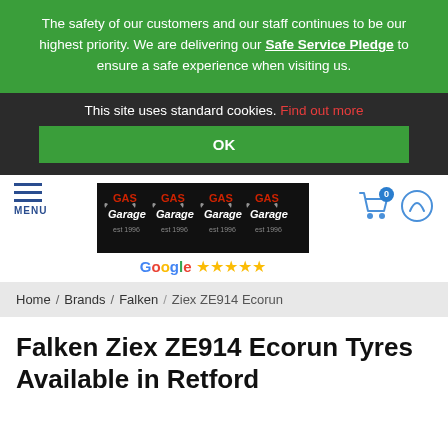The safety of our customers and our staff continues to be our highest priority. We are delivering our Safe Service Pledge to ensure a safe experience when visiting us.
This site uses standard cookies. Find out more
OK
[Figure (logo): GAS Garage logo repeated four times on dark background]
Google ★★★★★
Home / Brands / Falken / Ziex ZE914 Ecorun
Falken Ziex ZE914 Ecorun Tyres Available in Retford